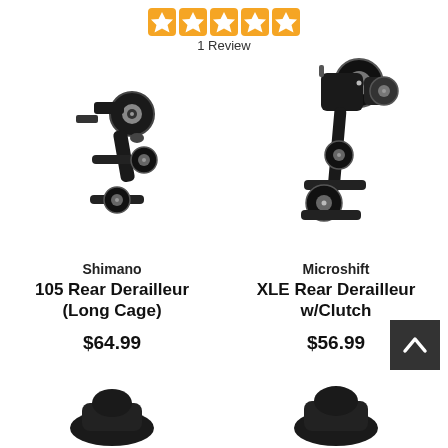[Figure (infographic): Five orange star rating icons]
1 Review
[Figure (photo): Shimano 105 Rear Derailleur (Long Cage) - black bicycle rear derailleur on white background]
Shimano
105 Rear Derailleur
(Long Cage)
$64.99
[Figure (photo): Microshift XLE Rear Derailleur w/Clutch - black bicycle rear derailleur on white background]
Microshift
XLE Rear Derailleur
w/Clutch
$56.99
[Figure (other): Dark back-to-top button with upward arrow chevron]
[Figure (photo): Partial view of bicycle component at bottom of page]